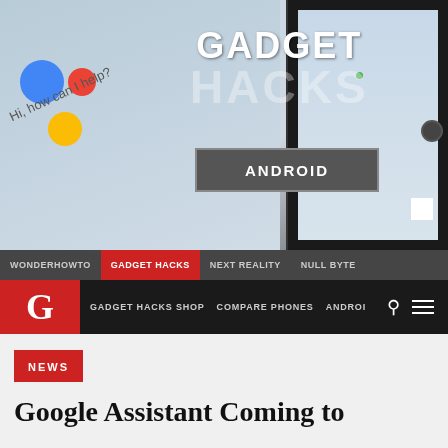[Figure (screenshot): Gadget Hacks website screenshot showing hero banner with Google Assistant phone, ANDROID button, navigation bar, brand bar with G logo, NEWS badge, and article title 'Google Assistant Coming to']
Google Assistant Coming to